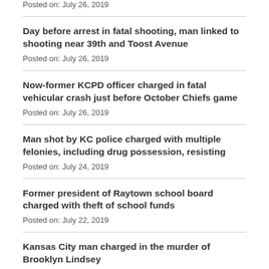Posted on: July 26, 2019
Day before arrest in fatal shooting, man linked to shooting near 39th and Toost Avenue
Posted on: July 26, 2019
Now-former KCPD officer charged in fatal vehicular crash just before October Chiefs game
Posted on: July 26, 2019
Man shot by KC police charged with multiple felonies, including drug possession, resisting
Posted on: July 24, 2019
Former president of Raytown school board charged with theft of school funds
Posted on: July 22, 2019
Kansas City man charged in the murder of Brooklyn Lindsey
Posted on: July 19, 2019